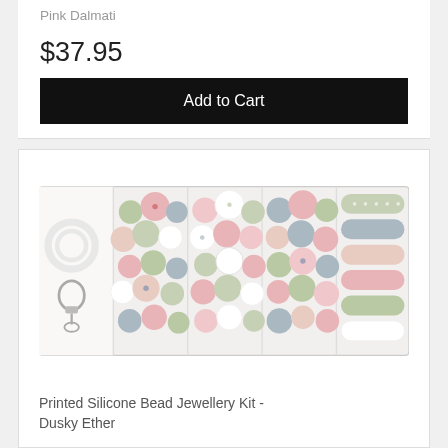Pink Dalmati
$37.95
Add to Cart
[Figure (photo): A clear plastic organizer box containing colorful silicone beads in pink, sage green, blue-grey, white, and printed/patterned varieties, along with a white cord and keyring clasp.]
Printed Silicone Bead Jewellery Kit - Dusky Ether